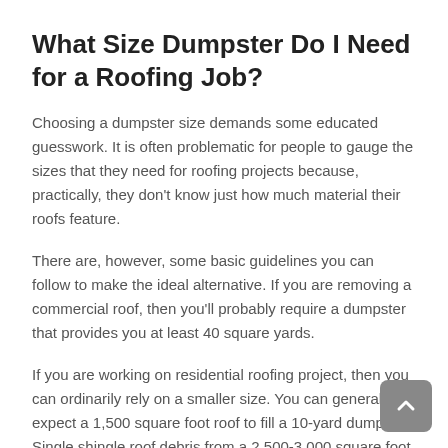What Size Dumpster Do I Need for a Roofing Job?
Choosing a dumpster size demands some educated guesswork. It is often problematic for people to gauge the sizes that they need for roofing projects because, practically, they don't know just how much material their roofs feature.
There are, however, some basic guidelines you can follow to make the ideal alternative. If you are removing a commercial roof, then you'll probably require a dumpster that provides you at least 40 square yards.
If you are working on residential roofing project, then you can ordinarily rely on a smaller size. You can generally expect a 1,500 square foot roof to fill a 10-yard dumpster. Single shingle roof debris from a 2,500-3,000 square foot roof will probably need a 20-yard dumpster.